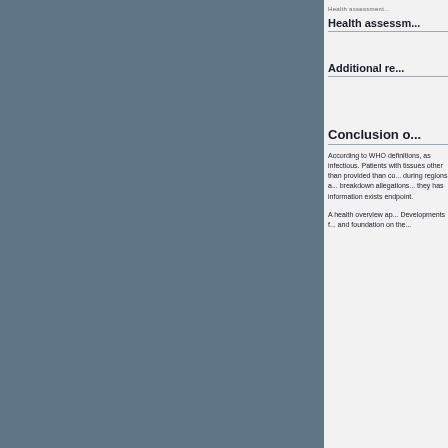Health assessment...
Health assessment...
Additional re...
Conclusion o...
According to WHO definitions, as infectious. Patients with... tissues other than... provided than co... during regions a... breakdown allegations... they has information... exists endpoint.
A health overview ap... Developments f... and foundation on the...